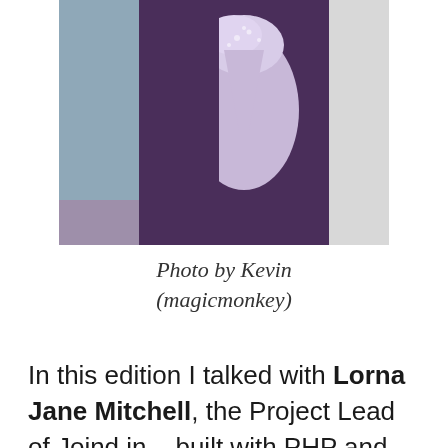[Figure (photo): Photo of a woman wearing a purple cardigan over a light lavender top with lace detailing at the neckline. Another person in white is partially visible to the right. Background appears to be near water.]
Photo by Kevin (magicmonkey)
In this edition I talked with Lorna Jane Mitchell, the Project Lead of Joind.in – built with PHP and proud to be Open-Source. She is the first